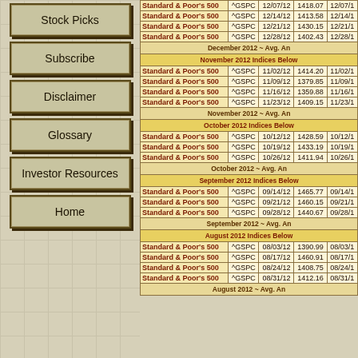Stock Picks
Subscribe
Disclaimer
Glossary
Investor Resources
Home
| Name | Symbol | Date | Close | Next Date |
| --- | --- | --- | --- | --- |
| Standard & Poor's 500 | ^GSPC | 12/07/12 | 1418.07 | 12/07/1... |
| Standard & Poor's 500 | ^GSPC | 12/14/12 | 1413.58 | 12/14/1... |
| Standard & Poor's 500 | ^GSPC | 12/21/12 | 1430.15 | 12/21/1... |
| Standard & Poor's 500 | ^GSPC | 12/28/12 | 1402.43 | 12/28/1... |
| December 2012 ~ Avg. An... |  |  |  |  |
| November 2012 Indices Below |  |  |  |  |
| Standard & Poor's 500 | ^GSPC | 11/02/12 | 1414.20 | 11/02/1... |
| Standard & Poor's 500 | ^GSPC | 11/09/12 | 1379.85 | 11/09/1... |
| Standard & Poor's 500 | ^GSPC | 11/16/12 | 1359.88 | 11/16/1... |
| Standard & Poor's 500 | ^GSPC | 11/23/12 | 1409.15 | 11/23/1... |
| November 2012 ~ Avg. An... |  |  |  |  |
| October 2012 Indices Below |  |  |  |  |
| Standard & Poor's 500 | ^GSPC | 10/12/12 | 1428.59 | 10/12/1... |
| Standard & Poor's 500 | ^GSPC | 10/19/12 | 1433.19 | 10/19/1... |
| Standard & Poor's 500 | ^GSPC | 10/26/12 | 1411.94 | 10/26/1... |
| October 2012 ~ Avg. An... |  |  |  |  |
| September 2012 Indices Below |  |  |  |  |
| Standard & Poor's 500 | ^GSPC | 09/14/12 | 1465.77 | 09/14/1... |
| Standard & Poor's 500 | ^GSPC | 09/21/12 | 1460.15 | 09/21/1... |
| Standard & Poor's 500 | ^GSPC | 09/28/12 | 1440.67 | 09/28/1... |
| September 2012 ~ Avg. An... |  |  |  |  |
| August 2012 Indices Below |  |  |  |  |
| Standard & Poor's 500 | ^GSPC | 08/03/12 | 1390.99 | 08/03/1... |
| Standard & Poor's 500 | ^GSPC | 08/17/12 | 1460.91 | 08/17/1... |
| Standard & Poor's 500 | ^GSPC | 08/24/12 | 1408.75 | 08/24/1... |
| Standard & Poor's 500 | ^GSPC | 08/31/12 | 1412.16 | 08/31/1... |
| August 2012 ~ Avg. An... |  |  |  |  |